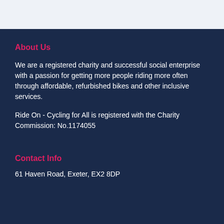About Us
We are a registered charity and successful social enterprise with a passion for getting more people riding more often through affordable, refurbished bikes and other inclusive services.
Ride On - Cycling for All is registered with the Charity Commission: No.1174055
Contact Info
61 Haven Road, Exeter, EX2 8DP